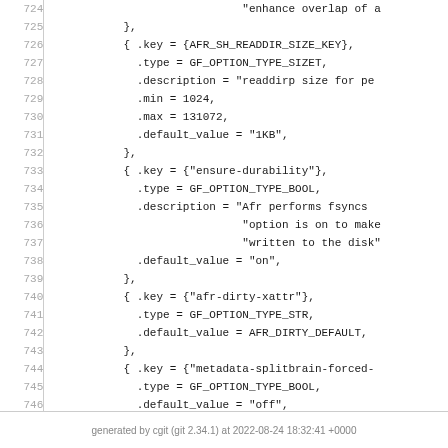Source code listing lines 724-749 showing C struct initialization with GlusterFS AFR configuration options including keys, types, descriptions, min/max values, and default values.
generated by cgit (git 2.34.1) at 2022-08-24 18:32:41 +0000